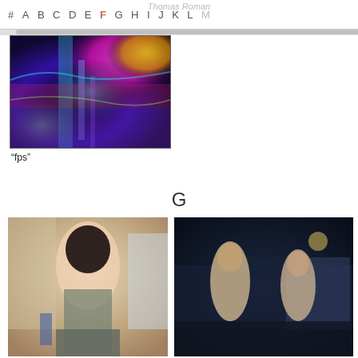# A B C D E F G H I J K L M
[Figure (photo): Psychedelic/thermal-style street scene photo with vivid colors — blues, purples, magentas, greens]
“fps”
G
[Figure (photo): Woman with dark hair sitting and holding a dental or medical instrument, in a domestic/studio setting]
[Figure (photo): Two people standing on a night street scene, a young man and woman facing each other]